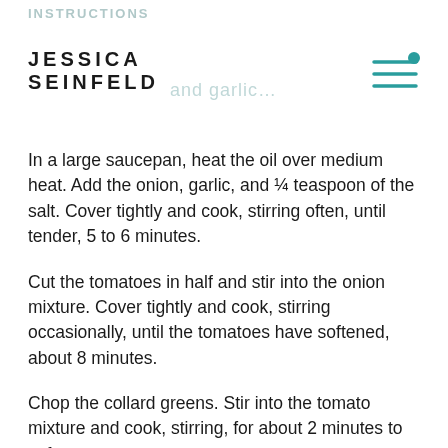INSTRUCTIONS
JESSICA SEINFELD
and garlic…
In a large saucepan, heat the oil over medium heat. Add the onion, garlic, and ¼ teaspoon of the salt. Cover tightly and cook, stirring often, until tender, 5 to 6 minutes.
Cut the tomatoes in half and stir into the onion mixture. Cover tightly and cook, stirring occasionally, until the tomatoes have softened, about 8 minutes.
Chop the collard greens. Stir into the tomato mixture and cook, stirring, for about 2 minutes to soften.
Stir in the quinoa. Add 1¾ cups of water, the red pepper flakes, and the remaining ½ teaspoon salt and let come to a boil. Cover tightly, reduce the heat to low, and cook until the quinoa is tender and the water is absorbed, about 15 minutes. Remove from the heat. Let stand, covered, for 5